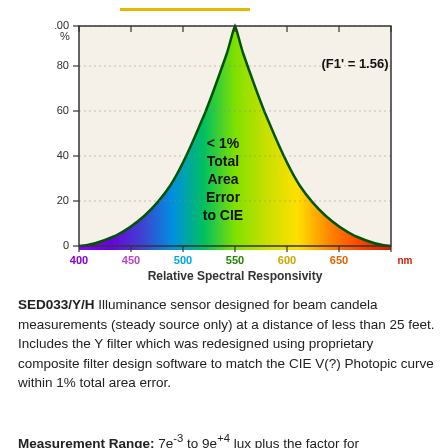[Figure (continuous-plot): Relative Spectral Responsivity curve (bell-shaped, rainbow colored from violet at 400nm to red at 700nm, peaking at ~555nm at 100%). Y-axis is 0-100%, X-axis is 400-700nm. Annotation: (F1' = 1.56) in upper right. Text overlay: '< 1% Total Area Error to CIE' in bold inside the curve.]
SED033/Y/H Illuminance sensor designed for beam candela measurements (steady source only) at a distance of less than 25 feet. Includes the Y filter which was redesigned using proprietary composite filter design software to match the CIE V(?) Photopic curve within 1% total area error.
Measurement Range: 7e-3 to 9e+4 lux plus the factor for